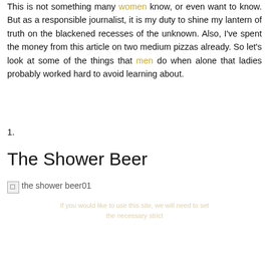This is not something many women know, or even want to know. But as a responsible journalist, it is my duty to shine my lantern of truth on the blackened recesses of the unknown. Also, I've spent the money from this article on two medium pizzas already. So let's look at some of the things that men do when alone that ladies probably worked hard to avoid learning about.
1.
The Shower Beer
[Figure (photo): Broken image placeholder labeled 'the shower beer01']